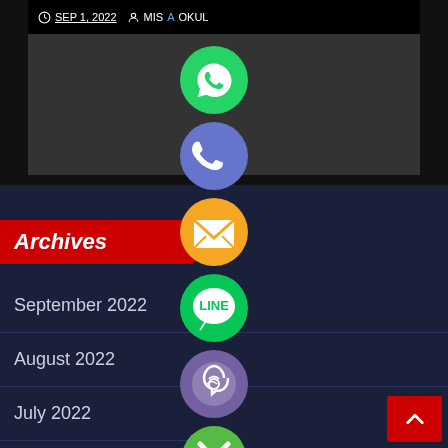[Figure (screenshot): Top strip showing a blog post header with date SEP 1, 2022 and author MISAOKUL on dark background]
SEP 1, 2022  MISAOKUL
[Figure (infographic): Vertical stack of social media/contact icons: WhatsApp (green), Phone (blue/purple), Email (orange), LINE (green), Viber (purple), Close/X (green)]
Archives
September 2022
August 2022
July 2022
June 2022
May 2022